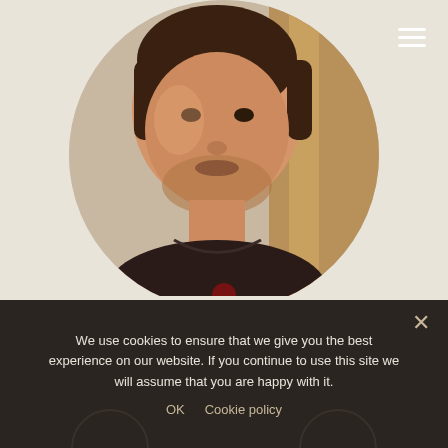[Figure (photo): Circular cropped portrait photo of a man with short hair and stubble beard wearing a dark t-shirt, photographed in a warm indoor setting with beige/tan background. Hamburger menu icon (three white horizontal lines) visible in top right corner.]
About John
We use cookies to ensure that we give you the best experience on our website. If you continue to use this site we will assume that you are happy with it.
OK   Cookie policy